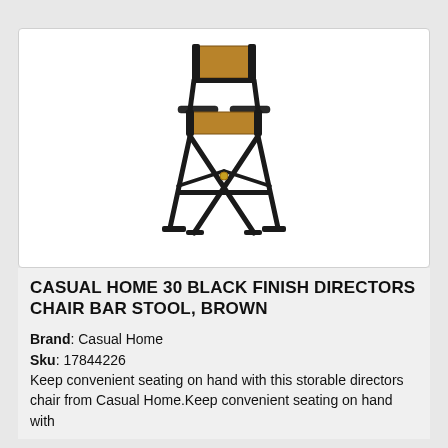[Figure (photo): A tall bar-height director's chair with black wooden frame and brown/tan canvas seat and back with armrests]
CASUAL HOME 30 BLACK FINISH DIRECTORS CHAIR BAR STOOL, BROWN
Brand: Casual Home
Sku: 17844226
Keep convenient seating on hand with this storable directors chair from Casual Home.Keep convenient seating on hand with